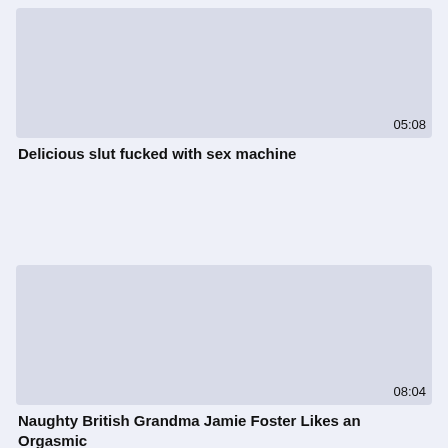[Figure (screenshot): Video thumbnail placeholder for first video, light grey/blue rectangle with duration 05:08]
Delicious slut fucked with sex machine
[Figure (screenshot): Video thumbnail placeholder for second video, light grey/blue rectangle with duration 08:04]
Naughty British Grandma Jamie Foster Likes an Orgasmic